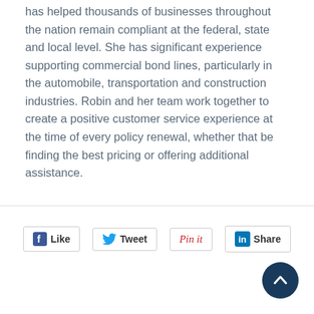has helped thousands of businesses throughout the nation remain compliant at the federal, state and local level. She has significant experience supporting commercial bond lines, particularly in the automobile, transportation and construction industries. Robin and her team work together to create a positive customer service experience at the time of every policy renewal, whether that be finding the best pricing or offering additional assistance.
[Figure (infographic): Social media sharing buttons: Facebook Like, Twitter Tweet, Pinterest Pin it, LinkedIn Share]